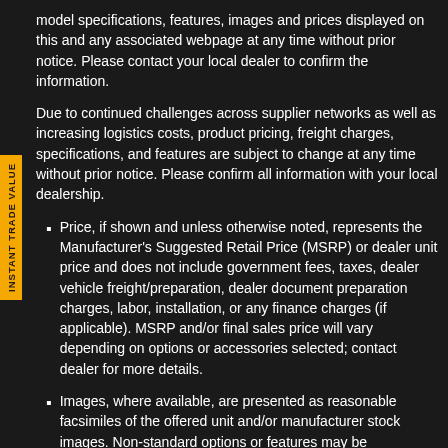model specifications, features, images and prices displayed on this and any associated webpage at any time without prior notice. Please contact your local dealer to confirm the information.
Due to continued challenges across supplier networks as well as increasing logistics costs, product pricing, freight charges, specifications, and features are subject to change at any time without prior notice. Please confirm all information with your local dealership.
Price, if shown and unless otherwise noted, represents the Manufacturer's Suggested Retail Price (MSRP) or dealer unit price and does not include government fees, taxes, dealer vehicle freight/preparation, dealer document preparation charges, labor, installation, or any finance charges (if applicable). MSRP and/or final sales price will vary depending on options or accessories selected; contact dealer for more details.
Images, where available, are presented as reasonable facsimiles of the offered unit and/or manufacturer stock images. Non-standard options or features may be represented. No guarantee of availability or inclusion of displayed options should be inferred; contact dealer for more details.